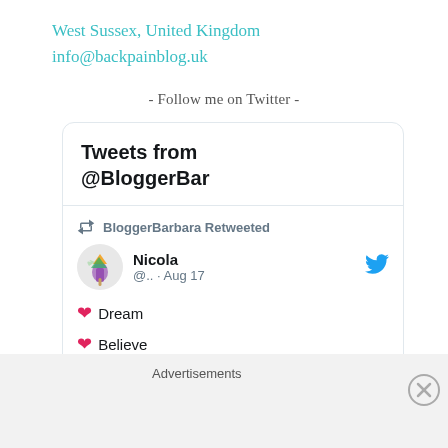West Sussex, United Kingdom
info@backpainblog.uk
- Follow me on Twitter -
[Figure (screenshot): Twitter widget showing tweets from @BloggerBar. Contains a retweet by BloggerBarbara from Nicola (@.. · Aug 17) with heart emojis and text: Dream, Believe, Create]
Advertisements